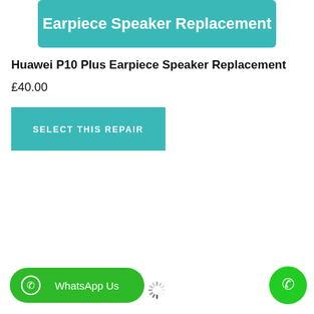[Figure (screenshot): Teal banner with white text reading 'Earpiece Speaker Replacement']
Huawei P10 Plus Earpiece Speaker Replacement
£40.00
[Figure (other): Teal button with white uppercase text 'SELECT THIS REPAIR']
[Figure (other): Green rounded button with WhatsApp icon and text 'WhatsApp Us']
[Figure (other): Loading spinner (radial dashes)]
[Figure (other): Green circular phone call button with phone handset icon]